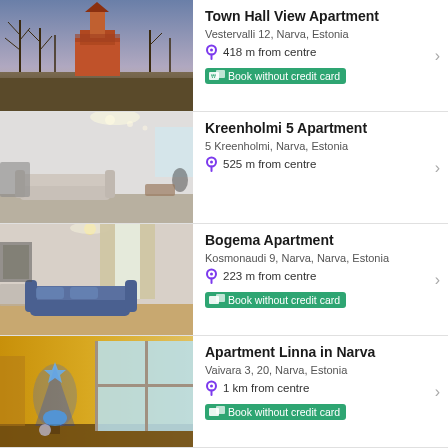[Figure (photo): Town hall view with orange-roofed building among bare trees at dusk]
Town Hall View Apartment
Vestervalli 12, Narva, Estonia
418 m from centre
Book without credit card
[Figure (photo): Interior of apartment with white walls, ceiling light, sofa and furniture]
Kreenholmi 5 Apartment
5 Kreenholmi, Narva, Estonia
525 m from centre
[Figure (photo): Living room interior with blue sofa, curtains, and wooden floor]
Bogema Apartment
Kosmonaudi 9, Narva, Narva, Estonia
223 m from centre
Book without credit card
[Figure (photo): Room with yellow walls, glowing blue Christmas tree decoration and window]
Apartment Linna in Narva
Vaivara 3, 20, Narva, Estonia
1 km from centre
Book without credit card